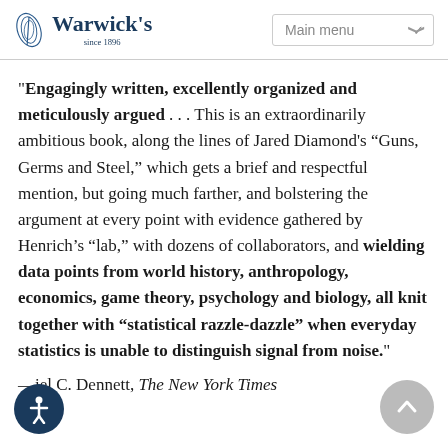Warwick's since 1896 | Main menu
"Engagingly written, excellently organized and meticulously argued . . . This is an extraordinarily ambitious book, along the lines of Jared Diamond's “Guns, Germs and Steel,” which gets a brief and respectful mention, but going much farther, and bolstering the argument at every point with evidence gathered by Henrich’s “lab,” with dozens of collaborators, and wielding data points from world history, anthropology, economics, game theory, psychology and biology, all knit together with “statistical razzle-dazzle” when everyday statistics is unable to distinguish signal from noise."
—Daniel C. Dennett, The New York Times